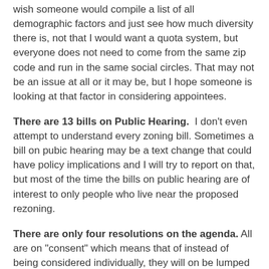wish someone would compile a list of all demographic factors and just see how much diversity there is, not that I would want a quota system, but everyone does not need to come from the same zip code and run in the same social circles. That may not be an issue at all or it may be, but I hope someone is looking at that factor in considering appointees.
There are 13 bills on Public Hearing. I don't even attempt to understand every zoning bill. Sometimes a bill on pubic hearing may be a text change that could have policy implications and I will try to report on that, but most of the time the bills on public hearing are of interest to only people who live near the proposed rezoning.
There are only four resolutions on the agenda. All are on "consent" which means that of instead of being considered individually, they will on be lumped together and passed with a single vote. However, if a bill fails to get unanimous support in the committee to which it is assigned then it comes off of consent. Also, any member from the floor may have his abstention or dissenting vote recorded or he may